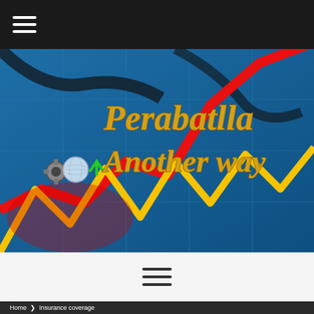[Figure (logo): Perabatlla Another Way brand logo with financial chart background featuring red and yellow zigzag lines on blue background with gear and globe icons]
[Figure (other): Hamburger menu icon (three horizontal lines) on white background]
Home ❯ Insurance coverage